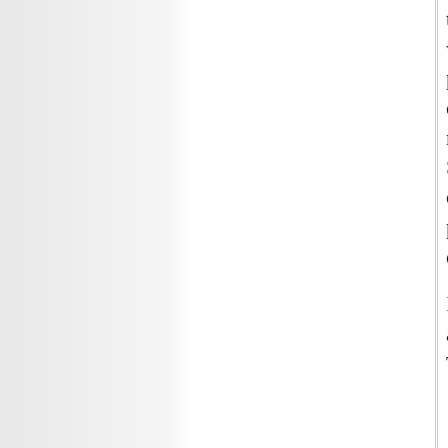to go quickly from 5 to 3 mbpd. However, we do not know what Ghawar's recent production has been. It may have been dropping at 100,000 to 200,000 bpd per month for the past few months, and the Saudis have been making up for the decline by depleting inventories and pushing the other fields as hard as they dared.
In any case, this spring (conincidentally, at the same stage of depletion at which Texas started its "volunary" production